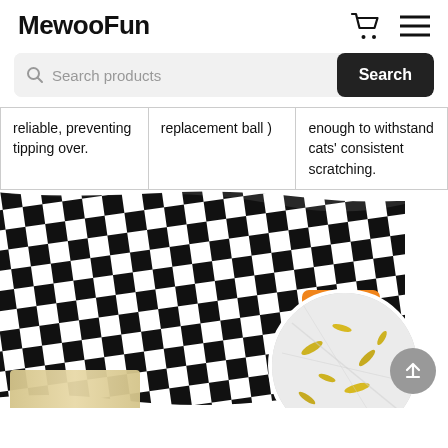MewooFun
Search products
| reliable, preventing tipping over. | replacement ball ) | enough to withstand cats' consistent scratching. |
[Figure (photo): A black and white checkered cat scratching post/toy with an orange MewooFun branded label. A circular inset shows a close-up of white fluffy material with gold metallic pieces.]